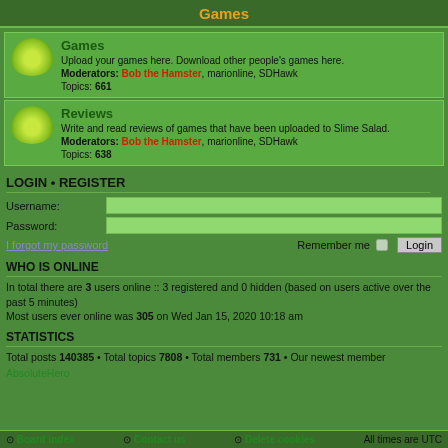Games
Games
Upload your games here. Download other people's games here. Moderators: Bob the Hamster, marionline, SDHawk Topics: 661
Reviews
Write and read reviews of games that have been uploaded to Slime Salad. Moderators: Bob the Hamster, marionline, SDHawk Topics: 638
LOGIN • REGISTER
Username:
Password:
I forgot my password
Remember me  Login
WHO IS ONLINE
In total there are 3 users online :: 3 registered and 0 hidden (based on users active over the past 5 minutes)
Most users ever online was 305 on Wed Jan 15, 2020 10:18 am
STATISTICS
Total posts 140385 • Total topics 7808 • Total members 731 • Our newest member AbsoluteHero
Board index  Contact us  Delete cookies  All times are UTC